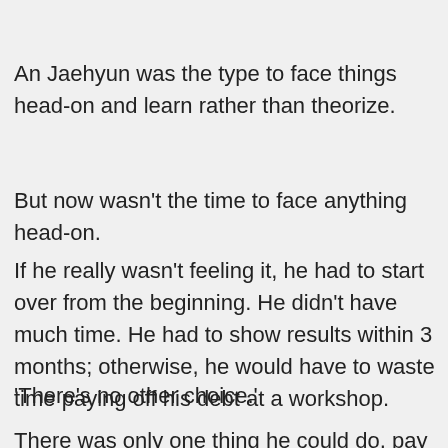An Jaehyun was the type to face things head-on and learn rather than theorize.
But now wasn't the time to face anything head-on.
If he really wasn't feeling it, he had to start over from the beginning. He didn't have much time. He had to show results within 3 months; otherwise, he would have to waste time paying off his debt at a workshop.
‘There’s no other choice.’
There was only one thing he could do, pay money to